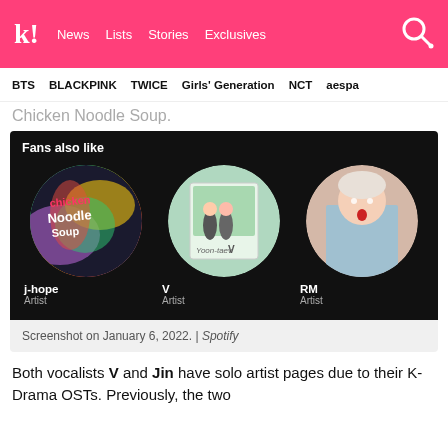k! News Lists Stories Exclusives [search]
BTS BLACKPINK TWICE Girls' Generation NCT aespa
Chicken Noodle Soup.
[Figure (screenshot): Spotify 'Fans also like' section showing three artist cards: j-hope (Artist), V (Artist), RM (Artist), each with a circular profile image on a dark background.]
Screenshot on January 6, 2022. | Spotify
Both vocalists V and Jin have solo artist pages due to their K-Drama OSTs. Previously, the two